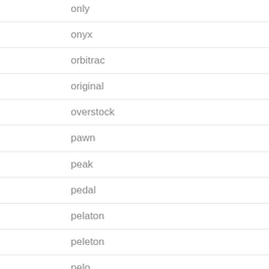only
onyx
orbitrac
original
overstock
pawn
peak
pedal
pelaton
peleton
pelo
peloton